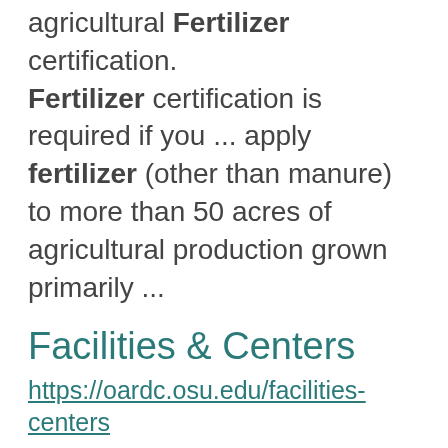agricultural Fertilizer certification. Fertilizer certification is required if you ... apply fertilizer (other than manure) to more than 50 acres of agricultural production grown primarily ...
Facilities & Centers
https://oardc.osu.edu/facilities-centers dedicated to enhancing the well-being of people throughout the world through research on food, agriculture, ... Research Stations 3. Ashtabula 4. Eastern 5. Jackson 6. Muck Crops 7. Pomerene Forest 8. Northwest 9. South ...